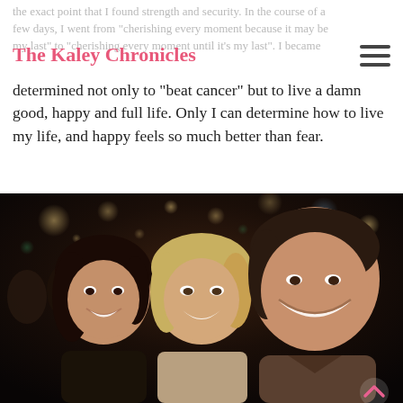The Kaley Chronicles
the exact point that I found strength and security. In the course of a few days, I went from "cherishing every moment because it may be my last" to "cherishing every moment until it's my last". I became determined not only to "beat cancer" but to live a damn good, happy and full life. Only I can determine how to live my life, and happy feels so much better than fear.
[Figure (photo): Three smiling people posing together for a selfie at night with city lights in the background. Two women and one man, all smiling. A pink upward chevron arrow is visible in the bottom right corner.]